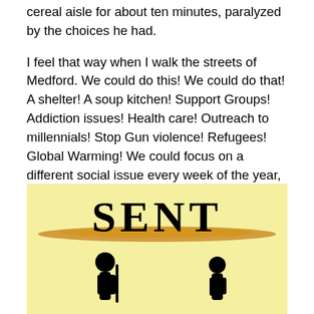cereal aisle for about ten minutes, paralyzed by the choices he had.
I feel that way when I walk the streets of Medford. We could do this! We could do that! A shelter! A soup kitchen! Support Groups! Addiction issues! Health care! Outreach to millennials! Stop Gun violence! Refugees! Global Warming! We could focus on a different social issue every week of the year, and have plenty to go for next year. So how do we choose?
[Figure (illustration): Illustration with yellow background showing the word SENT in large bold serif text, with an orange/amber horizontal brushstroke horizon line, and two black silhouettes of people standing at the bottom.]